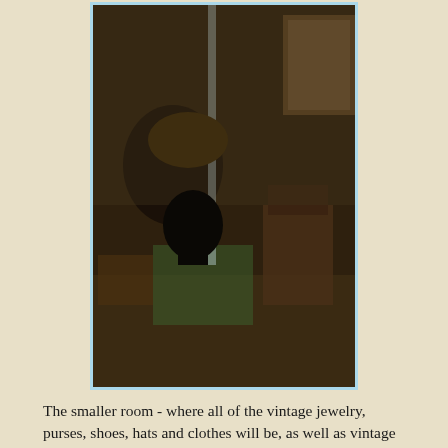[Figure (photo): Interior of a smaller vintage store room with dark furnishings, bags, hats, chairs and various vintage items visible.]
The smaller room - where all of the vintage jewelry, purses, shoes, hats and clothes will be, as well as vintage suitcases and other accessories.
[Figure (photo): A clothing rack with many vintage clothes hanging on hangers, with blue trim visible and various colorful garments including dresses and other apparel.]